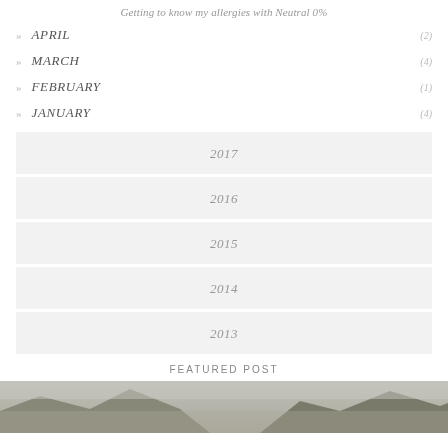Getting to know my allergies with Neutral 0%
APRIL (2)
MARCH (4)
FEBRUARY (1)
JANUARY (4)
2017
2016
2015
2014
2013
FEATURED POST
[Figure (photo): Mountain landscape photo with rocky peaks and overcast sky]